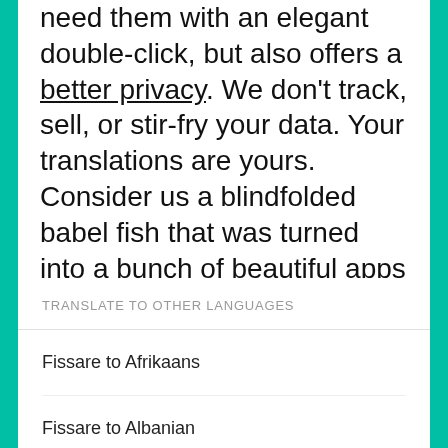need them with an elegant double-click, but also offers a better privacy. We don't track, sell, or stir-fry your data. Your translations are yours. Consider us a blindfolded babel fish that was turned into a bunch of beautiful apps to have your back with translations.
TRANSLATE TO OTHER LANGUAGES
Fissare to Afrikaans
Fissare to Albanian
Fissare to Amharic